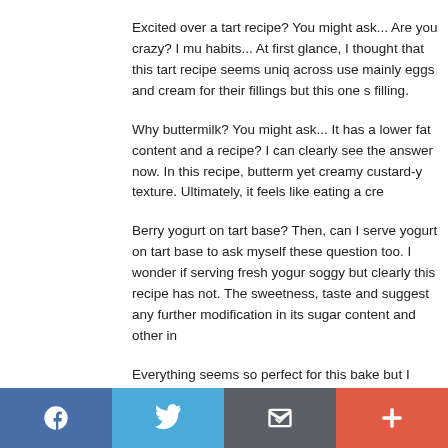Excited over a tart recipe? You might ask... Are you crazy? I mu habits... At first glance, I thought that this tart recipe seems uniq across use mainly eggs and cream for their fillings but this one s filling.
Why buttermilk? You might ask... It has a lower fat content and a recipe? I can clearly see the answer now. In this recipe, butterm yet creamy custard-y texture. Ultimately, it feels like eating a cre
Berry yogurt on tart base? Then, can I serve yogurt on tart base to ask myself these question too. I wonder if serving fresh yogur soggy but clearly this recipe has not. The sweetness, taste and suggest any further modification in its sugar content and other in
Everything seems so perfect for this bake but I reckon that this b improvement... Please blame me for being a little idealistic for m Melbourne, fresh berries are not easily available at this time of t this case has worked well for my bake, I reckon baking this with perfect. If you have any fresh berries in your garden or fridge no this delicious tart.
Facebook | Twitter | Email | +